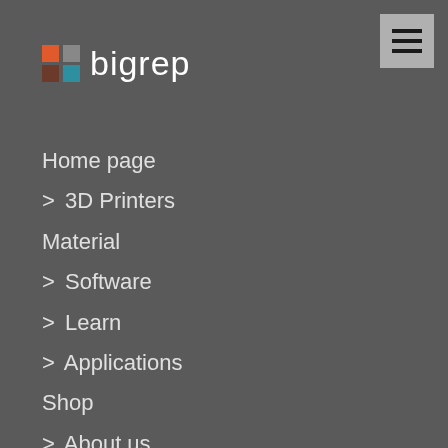[Figure (logo): BigRep logo with four colored squares (orange, gray, dark brown, teal) arranged in a 2x2 grid, followed by the text 'bigrep' in white]
[Figure (other): Hamburger menu button (three horizontal lines) on a gray background in the top right corner]
Home page
> 3D Printers
Material
> Software
> Learn
> Applications
Shop
> About us
Support
Contact